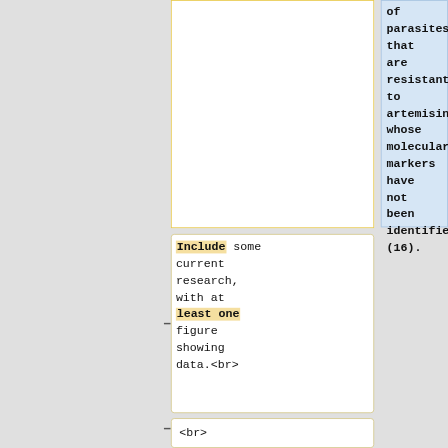of parasites that are resistant to artemisinin whose molecular markers have not been identified (16).
Include some current research, with at least one figure showing data.<br>
<br>